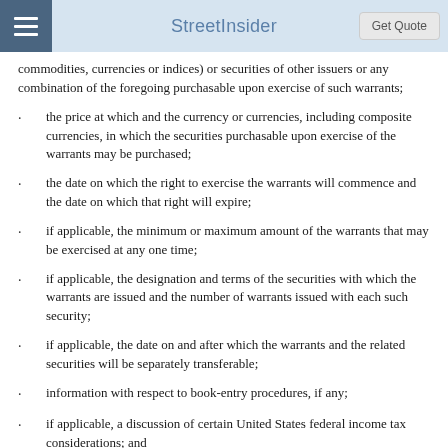StreetInsider
commodities, currencies or indices) or securities of other issuers or any combination of the foregoing purchasable upon exercise of such warrants;
the price at which and the currency or currencies, including composite currencies, in which the securities purchasable upon exercise of the warrants may be purchased;
the date on which the right to exercise the warrants will commence and the date on which that right will expire;
if applicable, the minimum or maximum amount of the warrants that may be exercised at any one time;
if applicable, the designation and terms of the securities with which the warrants are issued and the number of warrants issued with each such security;
if applicable, the date on and after which the warrants and the related securities will be separately transferable;
information with respect to book-entry procedures, if any;
if applicable, a discussion of certain United States federal income tax considerations; and
the amount of the warrants and the terms and conditions...